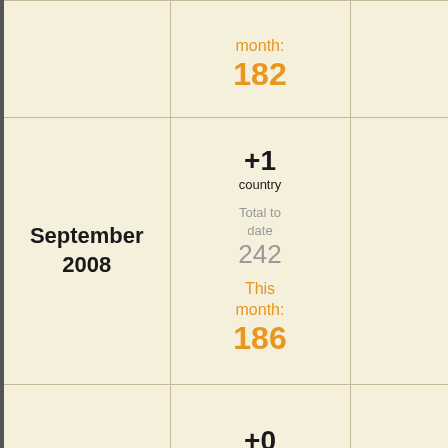| Month | Stats | Details |
| --- | --- | --- |
|  | month: 182 |  |
| September 2008 | +1 country
Total to date 242
This month: 186 |  |
| October 2008 | +0 countries
This month: 184 |  |